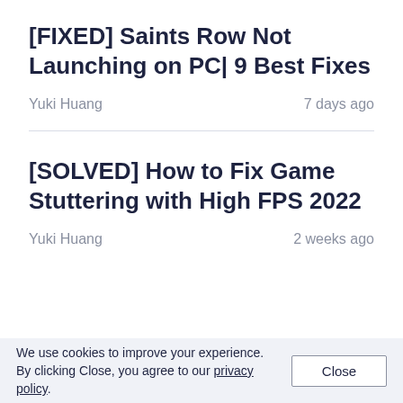[FIXED] Saints Row Not Launching on PC| 9 Best Fixes
Yuki Huang                                          7 days ago
[SOLVED] How to Fix Game Stuttering with High FPS 2022
Yuki Huang                                          2 weeks ago
We use cookies to improve your experience. By clicking Close, you agree to our privacy policy.